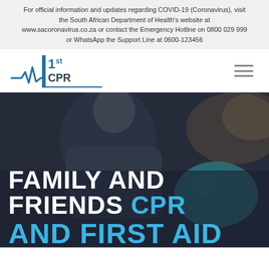For official information and updates regarding COVID-19 (Coronavirus), visit the South African Department of Health's website at www.sacoronavirus.co.za or contact the Emergency Hotline on 0800 029 999 or WhatsApp the Support Line at 0600-123456
[Figure (logo): 1st CPR logo with blue heartbeat line and text '1st CPR']
[Figure (photo): Dark-toned photo of a person leaning over, with a teal helmet visible. Overlay text reads 'FAMILY AND FRIENDS CPR AND FIRST AID' in large bold white and blue letters.]